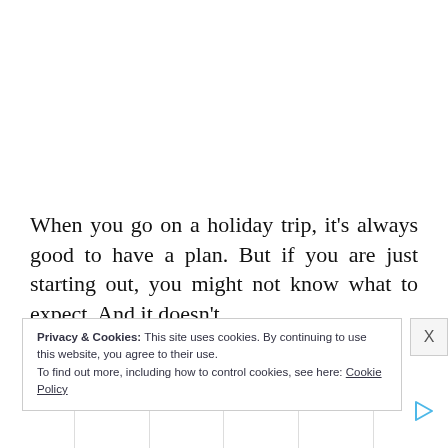When you go on a holiday trip, it's always good to have a plan. But if you are just starting out, you might not know what to expect. And it doesn't …fortable with …excited and
Privacy & Cookies: This site uses cookies. By continuing to use this website, you agree to their use.
To find out more, including how to control cookies, see here: Cookie Policy